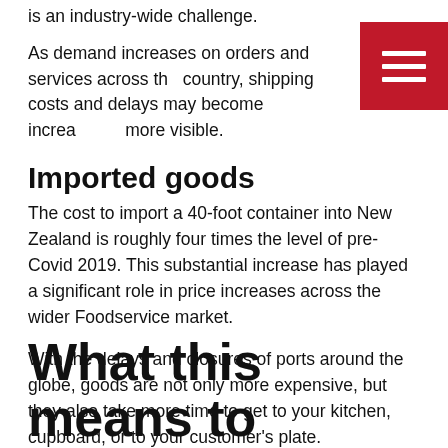is an industry-wide challenge.
As demand increases on orders and services across the country, shipping costs and delays may become increasingly more visible.
Imported goods
The cost to import a 40-foot container into New Zealand is roughly four times the level of pre-Covid 2019. This substantial increase has played a significant role in price increases across the wider Foodservice market.
With the delays and closures of ports around the globe, goods are not only more expensive, but they also take more time to get to your kitchen, cupboard, or to your customer's plate.
Some goods might not be available for import as the country of origin may place restrictions of their own. Sourcing local suppliers for time sensitive goods and finding local alternatives are an option to reduce or minimise delays.
What this means to